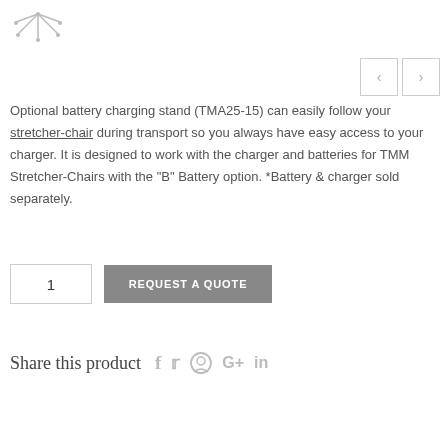[Figure (photo): Product image of a stretcher-chair base/stand with wheels]
Optional battery charging stand (TMA25-15) can easily follow your stretcher-chair during transport so you always have easy access to your charger. It is designed to work with the charger and batteries for TMM Stretcher-Chairs with the "B" Battery option. *Battery & charger sold separately.
Share this product